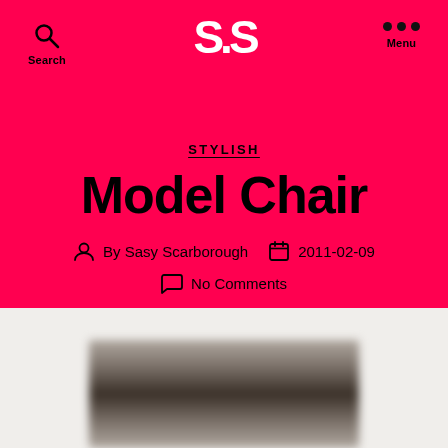Search   S.S   Menu
STYLISH
Model Chair
By Sasy Scarborough   2011-02-09   No Comments
[Figure (photo): Blurred black and white photograph partially visible at bottom of page]